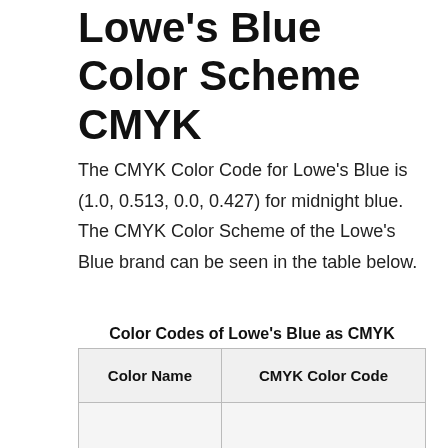Lowe's Blue Color Scheme CMYK
The CMYK Color Code for Lowe's Blue is (1.0, 0.513, 0.0, 0.427) for midnight blue. The CMYK Color Scheme of the Lowe's Blue brand can be seen in the table below.
Color Codes of Lowe's Blue as CMYK
| Color Name | CMYK Color Code |
| --- | --- |
|  |  |